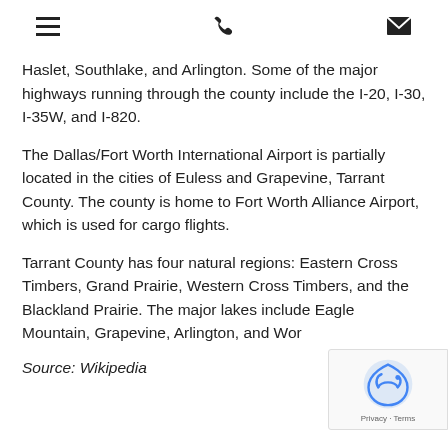[menu icon] [phone icon] [email icon]
Haslet, Southlake, and Arlington. Some of the major highways running through the county include the I-20, I-30, I-35W, and I-820.
The Dallas/Fort Worth International Airport is partially located in the cities of Euless and Grapevine, Tarrant County. The county is home to Fort Worth Alliance Airport, which is used for cargo flights.
Tarrant County has four natural regions: Eastern Cross Timbers, Grand Prairie, Western Cross Timbers, and the Blackland Prairie. The major lakes include Eagle Mountain, Grapevine, Arlington, and Wor[th]
Source: Wikipedia